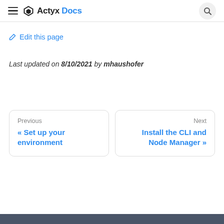Actyx Docs
Edit this page
Last updated on 8/10/2021 by mhaushofer
Previous « Set up your environment
Next Install the CLI and Node Manager »